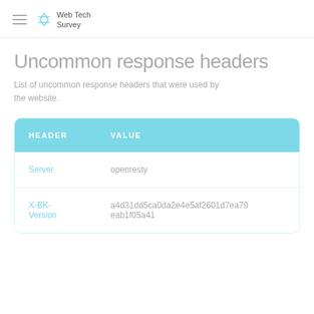Web Tech Survey
Uncommon response headers
List of uncommon response headers that were used by the website.
| HEADER | VALUE |
| --- | --- |
| Server | openresty |
| X-BK-Version | a4d31dd5ca0da2e4e5af2601d7ea79eab1f05a41 |